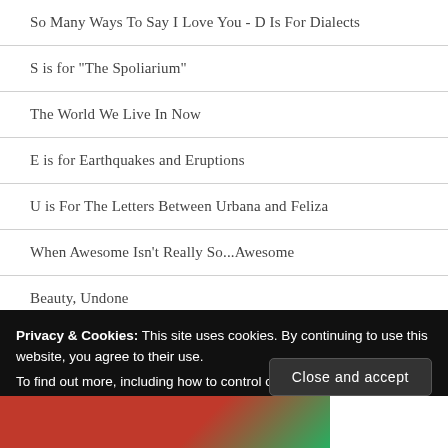So Many Ways To Say I Love You - D Is For Dialects
S is for "The Spoliarium"
The World We Live In Now
E is for Earthquakes and Eruptions
U is For The Letters Between Urbana and Feliza
When Awesome Isn't Really So...Awesome
Beauty, Undone
Archives
Privacy & Cookies: This site uses cookies. By continuing to use this website, you agree to their use.
To find out more, including how to control cookies, see here: Cookie Policy
Close and accept
[Figure (photo): Red and green decorative image strip at bottom of page]